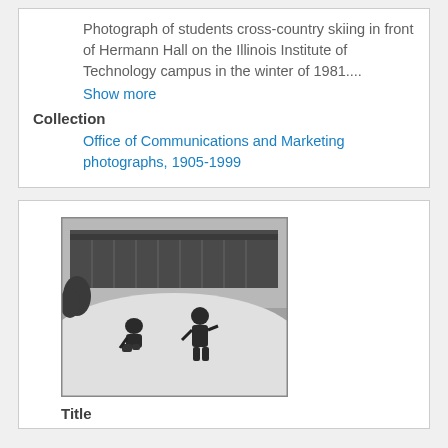Photograph of students cross-country skiing in front of Hermann Hall on the Illinois Institute of Technology campus in the winter of 1981....
Show more
Collection
Office of Communications and Marketing photographs, 1905-1999
[Figure (photo): Black and white photograph showing students playing in snow in front of a building on the Illinois Institute of Technology campus]
Title